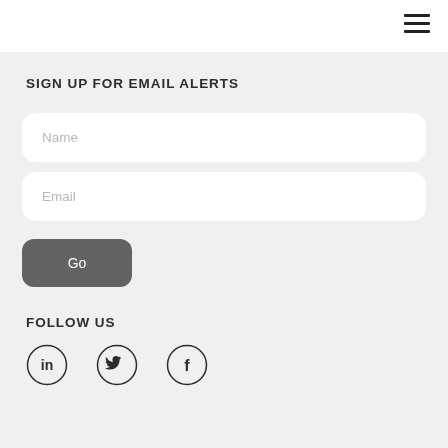SIGN UP FOR EMAIL ALERTS
Name
Email
Go
FOLLOW US
[Figure (illustration): Three social media icon circles: LinkedIn (in), Twitter (bird), Facebook (f)]